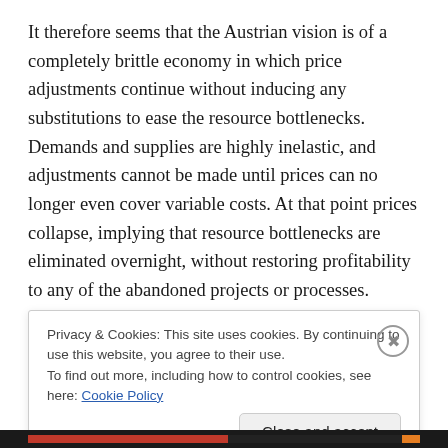It therefore seems that the Austrian vision is of a completely brittle economy in which price adjustments continue without inducing any substitutions to ease the resource bottlenecks. Demands and supplies are highly inelastic, and adjustments cannot be made until prices can no longer even cover variable costs. At that point prices collapse, implying that resource bottlenecks are eliminated overnight, without restoring profitability to any of the abandoned projects or processes.  Actually the most amazing thing about such a vision may be how closely it
Privacy & Cookies: This site uses cookies. By continuing to use this website, you agree to their use.
To find out more, including how to control cookies, see here: Cookie Policy